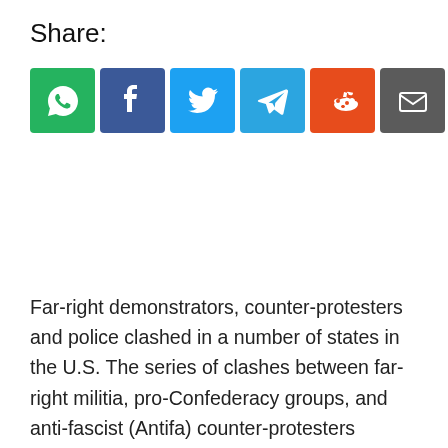Share:
[Figure (infographic): Row of six social media share buttons: WhatsApp (green), Facebook (dark blue), Twitter (light blue), Telegram (blue), Reddit (orange-red), Email (dark gray)]
Far-right demonstrators, counter-protesters and police clashed in a number of states in the U.S. The series of clashes between far-right militia, pro-Confederacy groups, and anti-fascist (Antifa) counter-protesters erupted across the